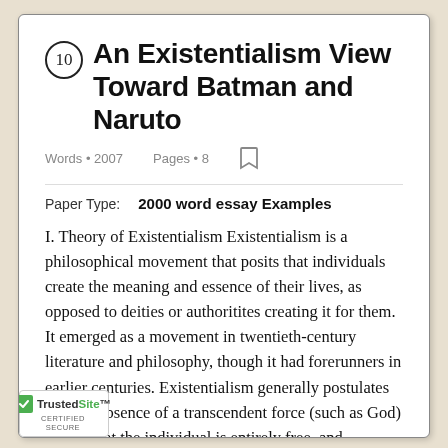10 An Existentialism View Toward Batman and Naruto
Words • 2007    Pages • 8
Paper Type:    2000 word essay Examples
I. Theory of Existentialism Existentialism is a philosophical movement that posits that individuals create the meaning and essence of their lives, as opposed to deities or authoritites creating it for them. It emerged as a movement in twentieth-century literature and philosophy, though it had forerunners in earlier centuries. Existentialism generally postulates that the absence of a transcendent force (such as God) means that the individual is entirely free, and therefore, ultimately responsible. It is up to to create an......